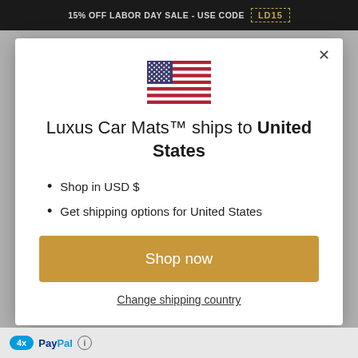15% OFF LABOR DAY SALE - USE CODE LD15
[Figure (screenshot): US flag icon centered in modal]
Luxus Car Mats™ ships to United States
Shop in USD $
Get shipping options for United States
Shop now
Change shipping country
4x PayPal ℹ